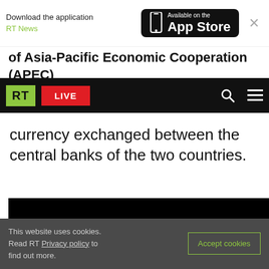[Figure (screenshot): App Store download banner with RT News label and Available on the App Store badge]
of Asia-Pacific Economic Cooperation (APEC)
[Figure (screenshot): RT news website navigation bar with logo, LIVE button, search and menu icons]
currency exchanged between the central banks of the two countries.
[Figure (screenshot): Black video player embed]
READ MORE: Russia & China preparing to
This website uses cookies. Read RT Privacy policy to find out more.